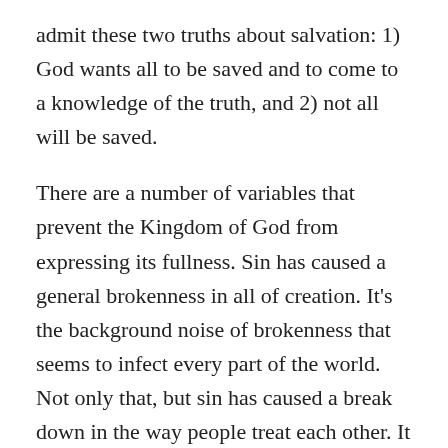admit these two truths about salvation: 1) God wants all to be saved and to come to a knowledge of the truth, and 2) not all will be saved.
There are a number of variables that prevent the Kingdom of God from expressing its fullness. Sin has caused a general brokenness in all of creation. It's the background noise of brokenness that seems to infect every part of the world. Not only that, but sin has caused a break down in the way people treat each other. It has also caused a break in the way we relate to ourselves and to God. Add to all of this a real enemy, Satan, who is actively employing the kingdom of darkness to work against God's purposes in the world, and you can begin to get a picture of the real mess we are in.